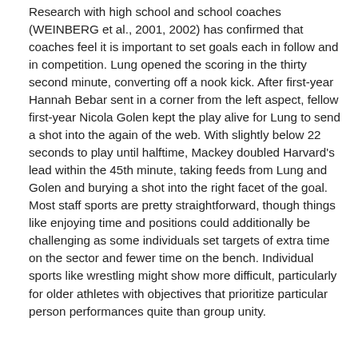Research with high school and school coaches (WEINBERG et al., 2001, 2002) has confirmed that coaches feel it is important to set goals each in follow and in competition. Lung opened the scoring in the thirty second minute, converting off a nook kick. After first-year Hannah Bebar sent in a corner from the left aspect, fellow first-year Nicola Golen kept the play alive for Lung to send a shot into the again of the web. With slightly below 22 seconds to play until halftime, Mackey doubled Harvard's lead within the 45th minute, taking feeds from Lung and Golen and burying a shot into the right facet of the goal. Most staff sports are pretty straightforward, though things like enjoying time and positions could additionally be challenging as some individuals set targets of extra time on the sector and fewer time on the bench. Individual sports like wrestling might show more difficult, particularly for older athletes with objectives that prioritize particular person performances quite than group unity.